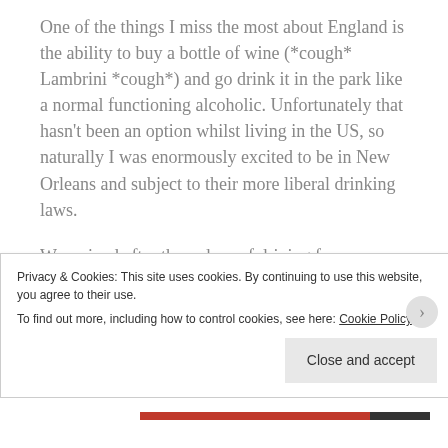One of the things I miss the most about England is the ability to buy a bottle of wine (*cough* Lambrini *cough*) and go drink it in the park like a normal functioning alcoholic. Unfortunately that hasn't been an option whilst living in the US, so naturally I was enormously excited to be in New Orleans and subject to their more liberal drinking laws.
We arrived after three days of driving from Memphis, which had seen us pass through corn fields, corn fields, civil war sites, and more corn fields. The closest thing to a decent meal we had en route was when we stopped in Clarksdale with the intention of saving...
Privacy & Cookies: This site uses cookies. By continuing to use this website, you agree to their use.
To find out more, including how to control cookies, see here: Cookie Policy
Close and accept